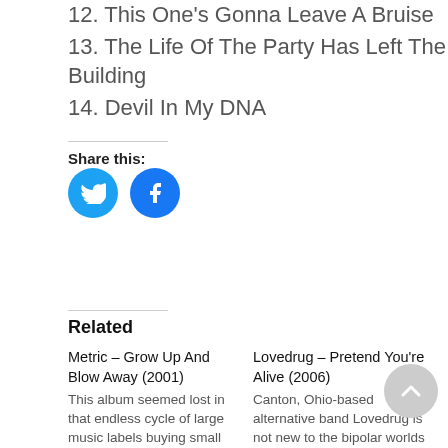12. This One's Gonna Leave A Bruise
13. The Life Of The Party Has Left The Building
14. Devil In My DNA
Share this:
[Figure (infographic): Twitter and Facebook share button icons]
Related
Metric – Grow Up And Blow Away (2001)
This album seemed lost in that endless cycle of large music labels buying small labels, with bands,
Lovedrug – Pretend You're Alive (2006)
Canton, Ohio-based alternative band Lovedrug is not new to the bipolar worlds that are indie and
In "Entertainment"